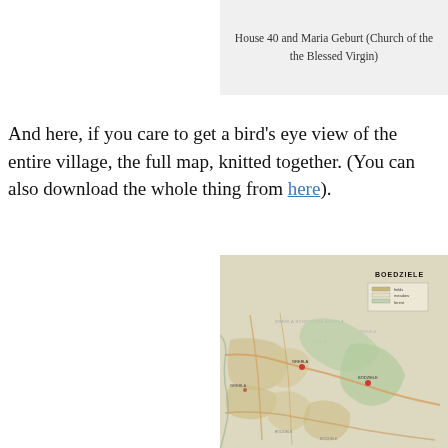House 40 and Maria Geburt (Church of the the Blessed Virgin)
And here, if you care to get a bird's eye view of the entire village, the full map, knitted together. (You can also download the whole thing from here).
[Figure (map): Historical map of Boedziele village showing land parcels, roads, and geographic features with green terrain markings and red dots indicating settlements. Title 'BOEDZIELE' shown at top right with legend.]